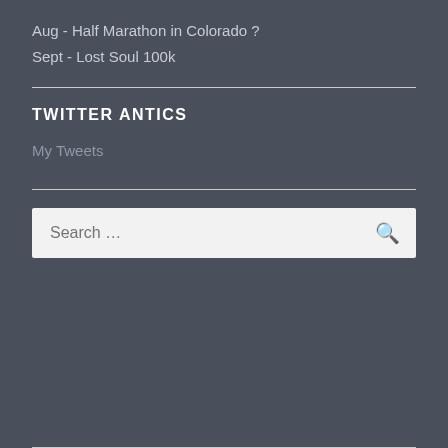Aug - Half Marathon in Colorado ?
Sept - Lost Soul 100k
TWITTER ANTICS
My Tweets
Search ...